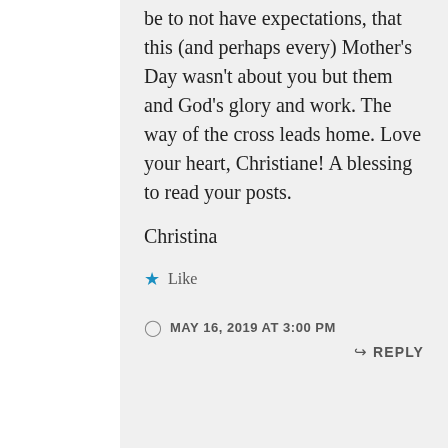be to not have expectations, that this (and perhaps every) Mother's Day wasn't about you but them and God's glory and work. The way of the cross leads home. Love your heart, Christiane! A blessing to read your posts.
Christina
★ Like
MAY 16, 2019 AT 3:00 PM
↳ REPLY